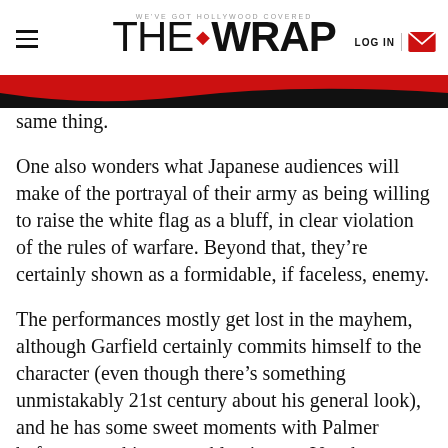WE'VE GOT HOLLYWOOD COVERED — THE WRAP — LOG IN
same thing.
One also wonders what Japanese audiences will make of the portrayal of their army as being willing to raise the white flag as a bluff, in clear violation of the rules of warfare. Beyond that, they're certainly shown as a formidable, if faceless, enemy.
The performances mostly get lost in the mayhem, although Garfield certainly commits himself to the character (even though there's something unmistakably 21st century about his general look), and he has some sweet moments with Palmer before everything starts blowing up. Vaughn delivers wit